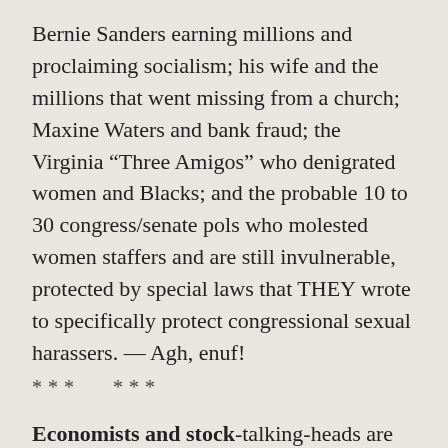Bernie Sanders earning millions and proclaiming socialism; his wife and the millions that went missing from a church; Maxine Waters and bank fraud; the Virginia “Three Amigos” who denigrated women and Blacks; and the probable 10 to 30 congress/senate pols who molested women staffers and are still invulnerable, protected by special laws that THEY wrote to specifically protect congressional sexual harassers. — Agh, enuf!
***   ***
Economists and stock-talking-heads are worried about a looming recession. In big or dramatic ways, you usually need at least two of the “heavy” planets (Saturn, Uranus, Neptune and Pluto) to be in a conflict aspect (a square or opposition).  In 2020, briefly (Spring) and 2021/22, solidly, Saturn squares Uranus,